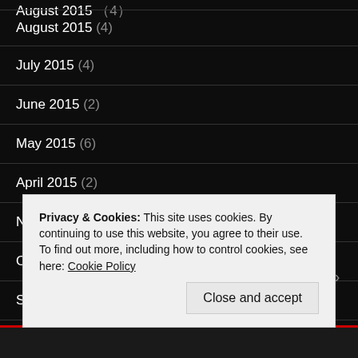August 2015 (4)
July 2015 (4)
June 2015 (2)
May 2015 (6)
April 2015 (2)
November 2014 (2)
October 2014 (3)
September 2014 (1)
July 2014 (3)
Privacy & Cookies: This site uses cookies. By continuing to use this website, you agree to their use.
To find out more, including how to control cookies, see here: Cookie Policy
Close and accept